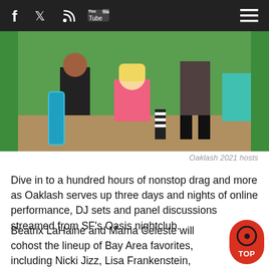Navigation bar with social icons: Facebook, Twitter, RSS, YouTube, and hamburger menu
[Figure (photo): Oaklash 2021 hosts — group of people posing, one sitting on the ground in a pink striped outfit, others standing around with skateboards and colorful outfits against a green background]
Oaklash 2021 hosts
Dive in to a hundred hours of nonstop drag and more as Oaklash serves up three days and nights of online performance, DJ sets and panel discussions streamed from SF's Oasis nightclub.
Beatrix LaHaine and Mama Celeste will cohost the lineup of Bay Area favorites, including Nicki Jizz, Lisa Frankenstein, Snaxx, Tyson Check-In, VERA, Jota Mercu Beverly Chills, FKA Supernova Girl, D'Arcy Drollinger, M David Glamamore